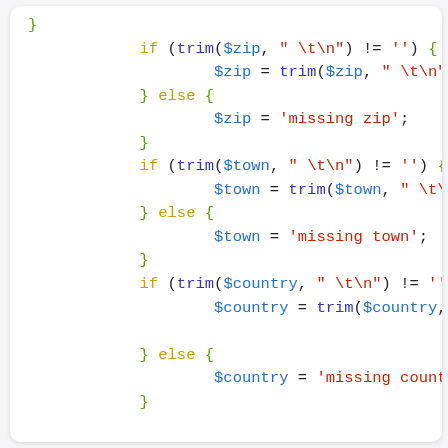PHP code snippet showing if/else blocks for zip, town, country validation, and a return array statement.